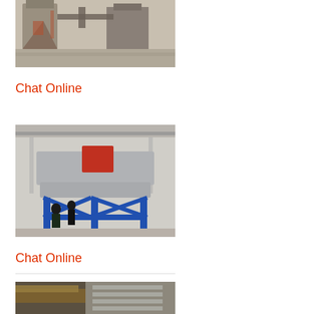[Figure (photo): Industrial factory interior with large metal silos, ductwork, and structural steel framework visible inside a warehouse-type building.]
Chat Online
[Figure (photo): Large industrial vibrating screen or sieving machine with blue steel frame support structure; workers inspecting the machine in a factory hall.]
Chat Online
[Figure (photo): Partial view of industrial machinery or conveyor system, partially cropped at bottom of page.]